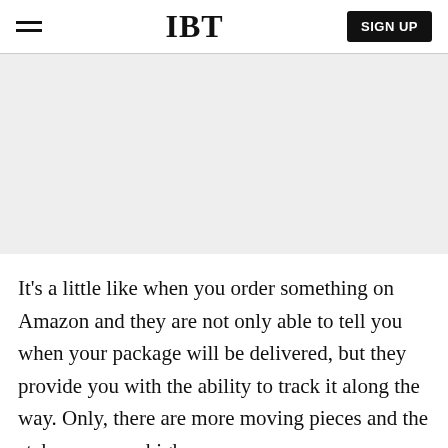IBT | SIGN UP
[Figure (other): Gray advertisement banner placeholder area]
It's a little like when you order something on Amazon and they are not only able to tell you when your package will be delivered, but they provide you with the ability to track it along the way. Only, there are more moving pieces and the stakes are way higher.